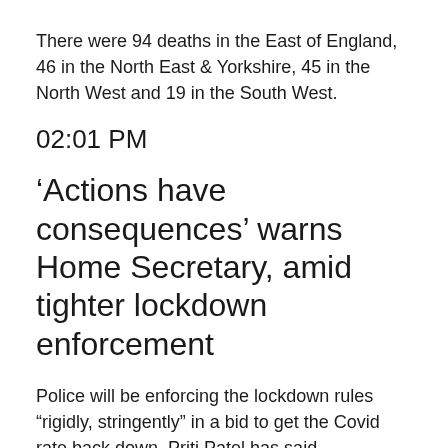There were 94 deaths in the East of England, 46 in the North East & Yorkshire, 45 in the North West and 19 in the South West.
02:01 PM
‘Actions have consequences’ warns Home Secretary, amid tighter lockdown enforcement
Police will be enforcing the lockdown rules “rigidly, stringently” in a bid to get the Covid rate back down, Priti Patel has said.
Speaking to reporters outside St Thomas’s Hospital in central London, the scene of a New Year’s Eve anti-lockdown protest, the